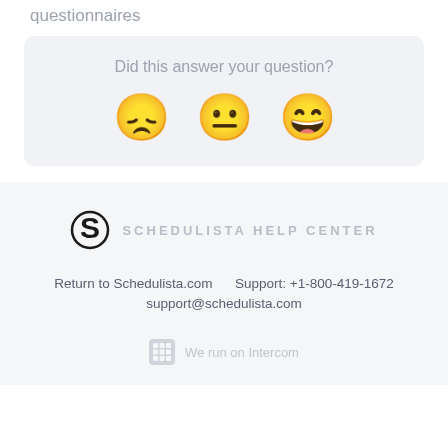questionnaires
[Figure (other): Feedback widget with three emoji faces (disappointed, neutral, happy) and text 'Did this answer your question?']
[Figure (logo): Schedulista Help Center logo with stylized S icon and text 'SCHEDULISTA HELP CENTER']
Return to Schedulista.com    Support: +1-800-419-1672
support@schedulista.com
We run on Intercom